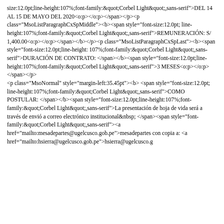size:12.0pt;line-height:107%;font-family:&quot;Corbel Light&quot;,sans-serif">DEL 14 AL 15 DE MAYO DEL 2020<o:p></o:p></span></p><p class="MsoListParagraphCxSpMiddle"><b><span style="font-size:12.0pt; line-height:107%;font-family:&quot;Corbel Light&quot;,sans-serif">REMUNERACIÓN: S/ 1,400.00<o:p></o:p></span></b></p><p class="MsoListParagraphCxSpLast"><b><span style="font-size:12.0pt;line-height: 107%;font-family:&quot;Corbel Light&quot;,sans-serif">DURACIÓN DE CONTRATO: </span></b><span style="font-size:12.0pt;line-height:107%;font-family:&quot;Corbel Light&quot;,sans-serif">3 MESES<o:p></o:p></span></p><p class="MsoNormal" style="margin-left:35.45pt"><b><span style="font-size:12.0pt; line-height:107%;font-family:&quot;Corbel Light&quot;,sans-serif">COMO POSTULAR: </span></b><span style="font-size:12.0pt;line-height:107%;font-family:&quot;Corbel Light&quot;,sans-serif">La presentación de hoja de vida será a través de envió a correo electrónico institucional&nbsp; </span><span style="font-family:&quot;Corbel Light&quot;,sans-serif"><a href="mailto:mesadepartes@ugelcusco.gob.pe">mesadepartes con copia a: <a href="mailto:hsierra@ugelcusco.gob.pe">hsierra@ugelcusco.g